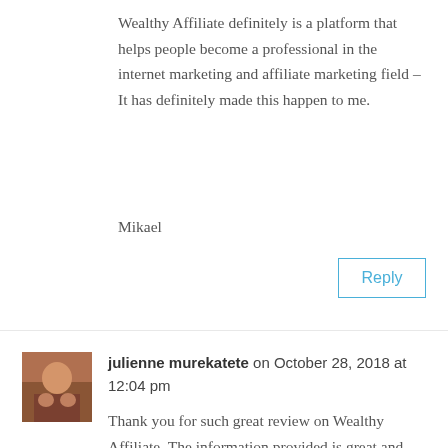Wealthy Affiliate definitely is a platform that helps people become a professional in the internet marketing and affiliate marketing field – It has definitely made this happen to me.
Mikael
Reply
julienne murekatete on October 28, 2018 at 12:04 pm
Thank you for such great review on Wealthy Affiliate. The information provided is great and helpful. I am WA member and every day I learn something new through training or website reviews including yours.